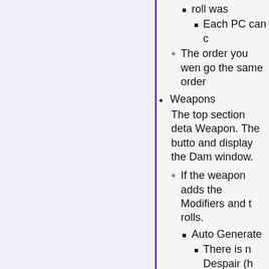roll was
Each PC can c
The order you wen go the same order
Weapons
The top section deta Weapon. The butto and display the Dam window.
If the weapon adds the Modifiers and t rolls.
Auto Generate
There is n Despair (h that anywa
s = Succe
f = Failure
a = Advan